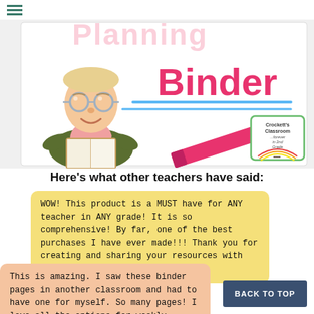≡ Planning Binder
[Figure (illustration): Cartoon teacher reading a book with 'Planning Binder' text in pink and a pink marker, blue underlines, and Crockett's Classroom logo]
Here's what other teachers have said:
WOW! This product is a MUST have for ANY teacher in ANY grade! It is so comprehensive! By far, one of the best purchases I have ever made!!! Thank you for creating and sharing your resources with other teachers!
This is amazing. I saw these binder pages in another classroom and had to have one for myself. So many pages! I love all the options for weekly newsletters. This will really keep me organized for next year!
BACK TO TOP